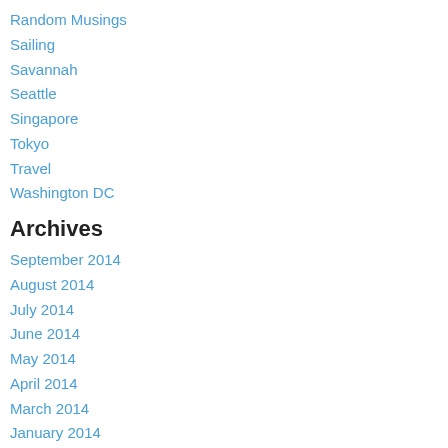Random Musings
Sailing
Savannah
Seattle
Singapore
Tokyo
Travel
Washington DC
Archives
September 2014
August 2014
July 2014
June 2014
May 2014
April 2014
March 2014
January 2014
December 2013
November 2013
September 2013